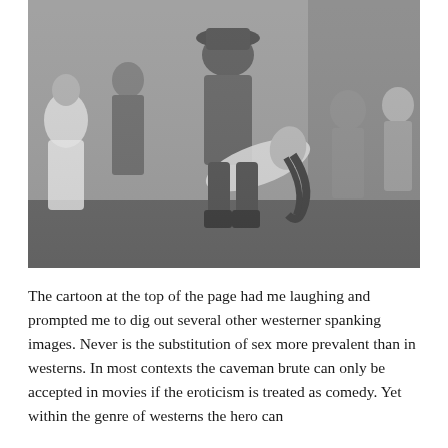[Figure (photo): Black and white photograph showing a Western scene with a cowboy in a hat bending a woman backwards in what appears to be a dramatic pose, while several onlookers watch in the background.]
The cartoon at the top of the page had me laughing and prompted me to dig out several other westerner spanking images. Never is the substitution of sex more prevalent than in westerns. In most contexts the caveman brute can only be accepted in movies if the eroticism is treated as comedy. Yet within the genre of westerns the hero can